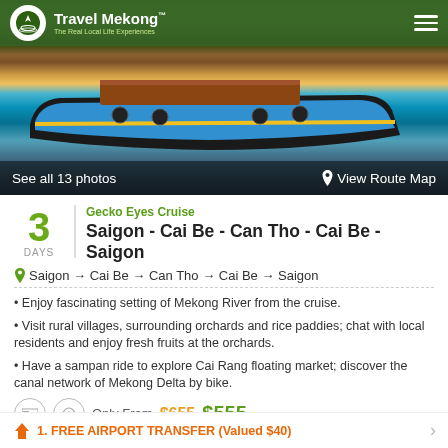[Figure (photo): Travel Mekong header with logo and hamburger menu over boat photo]
See all 13 photos
View Route Map
Gecko Eyes Cruise
Saigon - Cai Be - Can Tho - Cai Be - Saigon
3 DAYS
Saigon → Cai Be → Can Tho → Cai Be → Saigon
• Enjoy fascinating setting of Mekong River from the cruise.
• Visit rural villages, surrounding orchards and rice paddies; chat with local residents and enjoy fresh fruits at the orchards.
• Have a sampan ride to explore Cai Rang floating market; discover the canal network of Mekong Delta by bike.
Only From $655 $555
1. FREE AIRPORT TRANSFER (Valued $40)